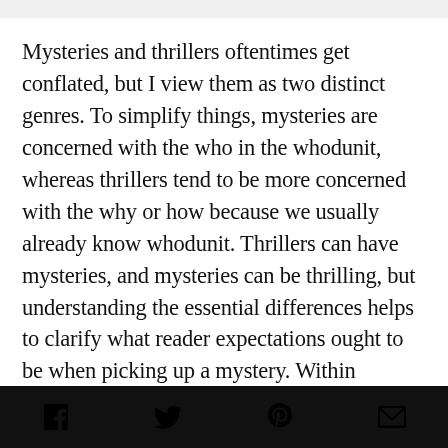Mysteries and thrillers oftentimes get conflated, but I view them as two distinct genres. To simplify things, mysteries are concerned with the who in the whodunit, whereas thrillers tend to be more concerned with the why or how because we usually already know whodunit. Thrillers can have mysteries, and mysteries can be thrilling, but understanding the essential differences helps to clarify what reader expectations ought to be when picking up a mystery. Within mystery and thrillers, we have loads of sub-genres with their own conventions and expectations, such a procedural mystery, psychological thrillers, domestic
social share icons: Facebook, Twitter, Pinterest, Email